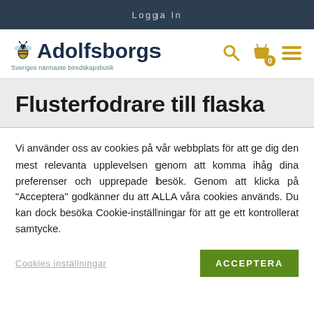Logga In
[Figure (logo): Adolfsborgs logo with bee illustration and tagline 'Sveriges närmaste biredskapsbutik']
Flusterfodrare till flaska
Vi använder oss av cookies på vår webbplats för att ge dig den mest relevanta upplevelsen genom att komma ihåg dina preferenser och upprepade besök. Genom att klicka på "Acceptera" godkänner du att ALLA våra cookies används. Du kan dock besöka Cookie-inställningar för att ge ett kontrollerat samtycke.
Cookies inställningar  ACCEPTERA